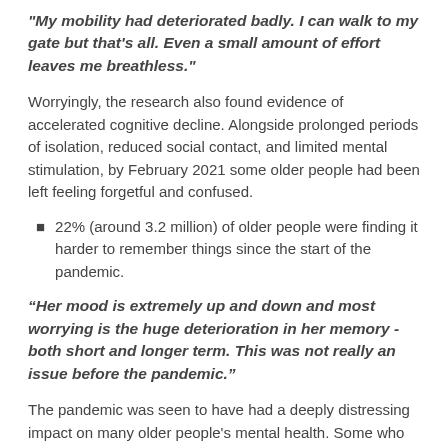"My mobility had deteriorated badly. I can walk to my gate but that's all. Even a small amount of effort leaves me breathless."
Worryingly, the research also found evidence of accelerated cognitive decline. Alongside prolonged periods of isolation, reduced social contact, and limited mental stimulation, by February 2021 some older people had been left feeling forgetful and confused.
22% (around 3.2 million) of older people were finding it harder to remember things since the start of the pandemic.
“Her mood is extremely up and down and most worrying is the huge deterioration in her memory - both short and longer term. This was not really an issue before the pandemic.”
The pandemic was seen to have had a deeply distressing impact on many older people’s mental health. Some who